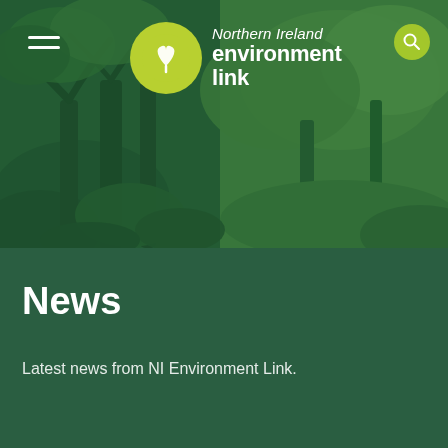[Figure (photo): Hero banner image of lush green forest with moss-covered rocks and trees, overlaid with semi-transparent dark green tint. Contains Northern Ireland Environment Link logo and navigation hamburger menu.]
News
Latest news from NI Environment Link.